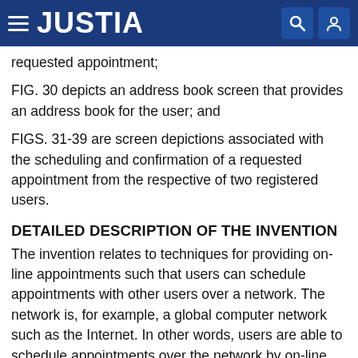JUSTIA
requested appointment;
FIG. 30 depicts an address book screen that provides an address book for the user; and
FIGS. 31-39 are screen depictions associated with the scheduling and confirmation of a requested appointment from the respective of two registered users.
DETAILED DESCRIPTION OF THE INVENTION
The invention relates to techniques for providing on-line appointments such that users can schedule appointments with other users over a network. The network is, for example, a global computer network such as the Internet. In other words, users are able to schedule appointments over the network by on-line